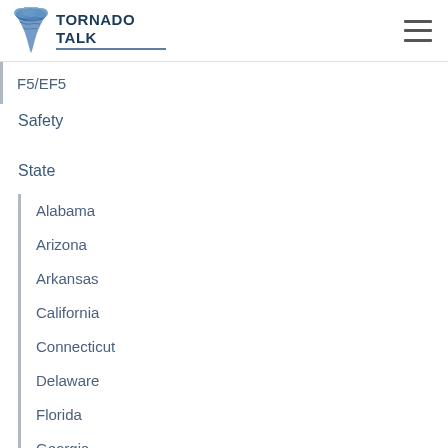TORNADO TALK
F5/EF5
Safety
State
Alabama
Arizona
Arkansas
California
Connecticut
Delaware
Florida
Georgia